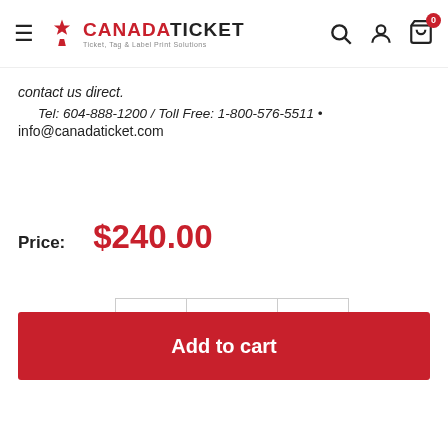Canada Ticket — Ticket, Tag & Label Print Solutions | Search | Account | Cart (0)
contact us direct.
Tel: 604-888-1200 / Toll Free: 1-800-576-5511 •
info@canadaticket.com
Price: $240.00
Quantity: − 1 +
Add to cart